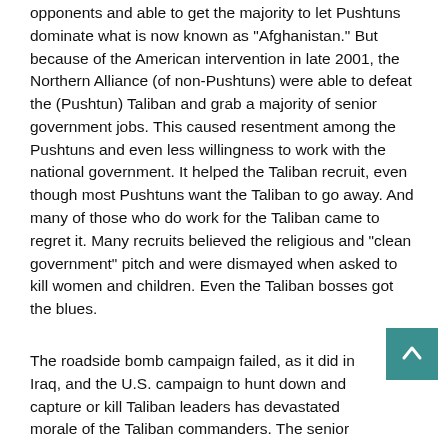opponents and able to get the majority to let Pushtuns dominate what is now known as "Afghanistan." But because of the American intervention in late 2001, the Northern Alliance (of non-Pushtuns) were able to defeat the (Pushtun) Taliban and grab a majority of senior government jobs. This caused resentment among the Pushtuns and even less willingness to work with the national government. It helped the Taliban recruit, even though most Pushtuns want the Taliban to go away. And many of those who do work for the Taliban came to regret it. Many recruits believed the religious and "clean government" pitch and were dismayed when asked to kill women and children. Even the Taliban bosses got the blues.
The roadside bomb campaign failed, as it did in Iraq, and the U.S. campaign to hunt down and capture or kill Taliban leaders has devastated morale of the Taliban commanders. The senior